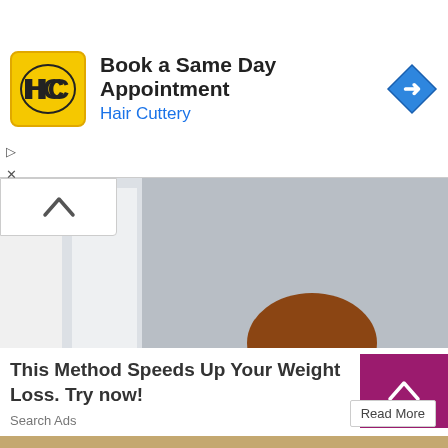[Figure (screenshot): Hair Cuttery advertisement banner with yellow HC logo, text 'Book a Same Day Appointment' and 'Hair Cuttery' in blue, and a blue navigation diamond icon on the right]
▷
✕
[Figure (photo): Woman with long brown braided hair wearing a light blue sweater, smiling and holding a glass of water with lemon and mint]
This Method Speeds Up Your Weight Loss. Try now!
Search Ads
Read More
[Figure (screenshot): Bottom strip showing another article thumbnail]